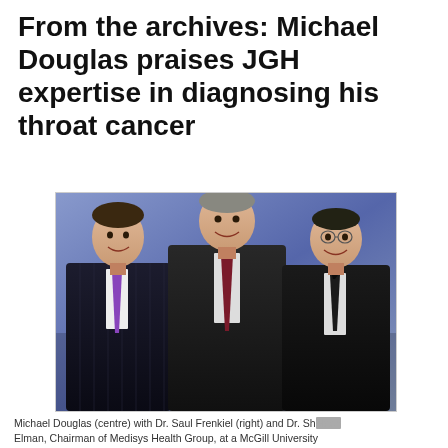From the archives: Michael Douglas praises JGH expertise in diagnosing his throat cancer
[Figure (photo): Three men in suits posing together in front of a blue background. Left man wears a pinstripe suit with purple tie, center man wears a dark suit with dark red tie, right man wears a dark suit with dark tie.]
Michael Douglas (centre) with Dr. Saul Frenkiel (right) and Dr. Sheldon Elman, Chairman of Medisys Health Group, at a McGill University